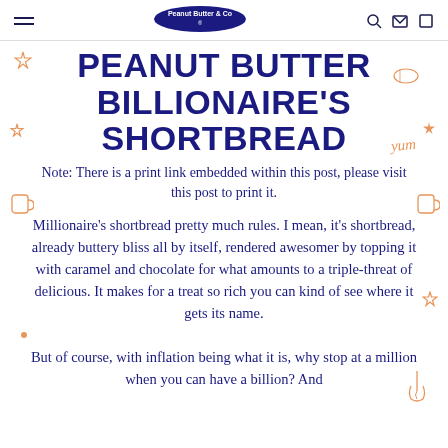[Peanut Butter & Co. logo with navigation icons]
PEANUT BUTTER BILLIONAIRE'S SHORTBREAD
Note: There is a print link embedded within this post, please visit this post to print it.
Millionaire's shortbread pretty much rules. I mean, it's shortbread, already buttery bliss all by itself, rendered awesomer by topping it with caramel and chocolate for what amounts to a triple-threat of delicious. It makes for a treat so rich you can kind of see where it gets its name.
But of course, with inflation being what it is, why stop at a million when you can have a billion? And